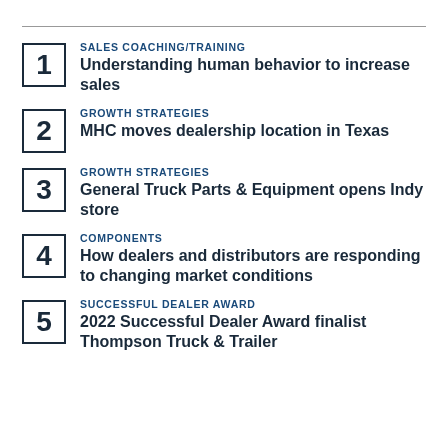SALES COACHING/TRAINING — Understanding human behavior to increase sales
GROWTH STRATEGIES — MHC moves dealership location in Texas
GROWTH STRATEGIES — General Truck Parts & Equipment opens Indy store
COMPONENTS — How dealers and distributors are responding to changing market conditions
SUCCESSFUL DEALER AWARD — 2022 Successful Dealer Award finalist Thompson Truck & Trailer